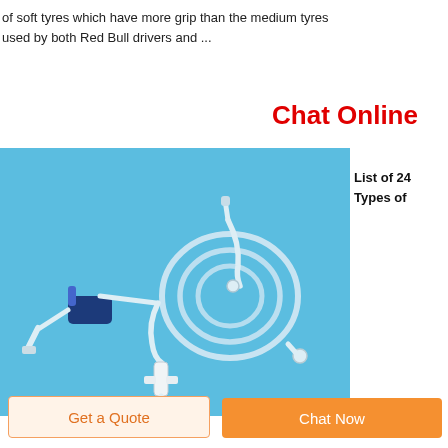of soft tyres which have more grip than the medium tyres used by both Red Bull drivers and ...
Chat Online
[Figure (photo): Medical IV infusion set with tubing, drip chamber, needle adapter and blue plastic clamp on a blue background]
List of 24 Types of
Get a Quote
Chat Now